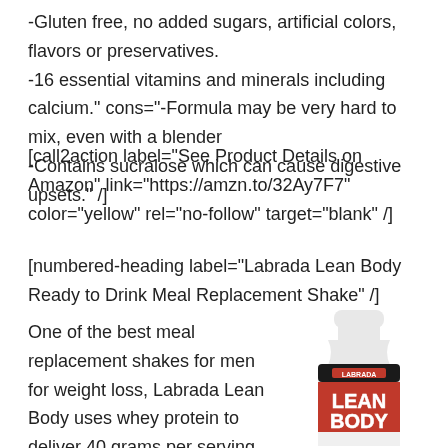-Gluten free, no added sugars, artificial colors, flavors or preservatives.
-16 essential vitamins and minerals including calcium." cons="-Formula may be very hard to mix, even with a blender
-Contains sucralose which can cause digestive upsets." /]
[call2action label="See Product Details on Amazon" link="https://amzn.to/32Ay7F7" color="yellow" rel="no-follow" target="blank" /]
[numbered-heading label="Labrada Lean Body Ready to Drink Meal Replacement Shake" /]
One of the best meal replacement shakes for men for weight loss, Labrada Lean Body uses whey protein to deliver 40 grams per serving. A milk derivative some people may assume that lactose-free means dairy free and that is just not
[Figure (photo): Labrada Lean Body Ready to Drink Meal Replacement Shake bottle with red and white label]